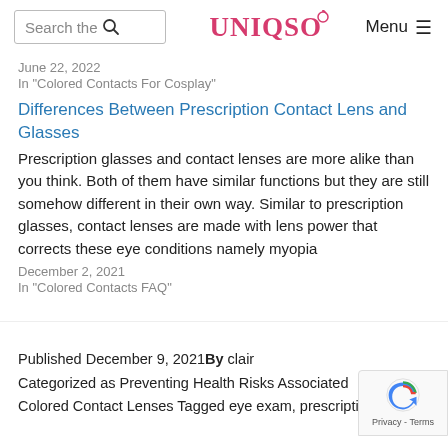Search the | UNIQSO | Menu
June 22, 2022
In "Colored Contacts For Cosplay"
Differences Between Prescription Contact Lens and Glasses
Prescription glasses and contact lenses are more alike than you think. Both of them have similar functions but they are still somehow different in their own way. Similar to prescription glasses, contact lenses are made with lens power that corrects these eye conditions namely myopia
December 2, 2021
In "Colored Contacts FAQ"
Published December 9, 2021By clair
Categorized as Preventing Health Risks Associated
Colored Contact Lenses Tagged eye exam, prescription